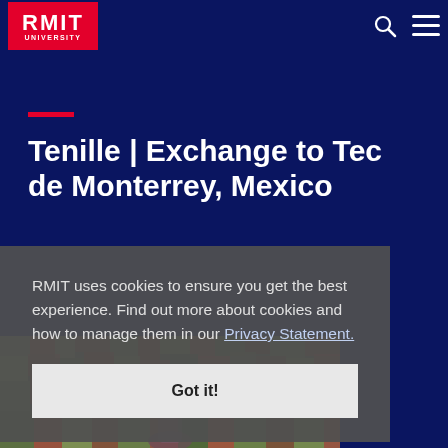RMIT UNIVERSITY
Tenille | Exchange to Tec de Monterrey, Mexico
RMIT uses cookies to ensure you get the best experience. Find out more about cookies and how to manage them in our Privacy Statement.
Got it!
[Figure (photo): Colorful photo background with a person visible at bottom, mosaic/foliage texture in greens and reds]